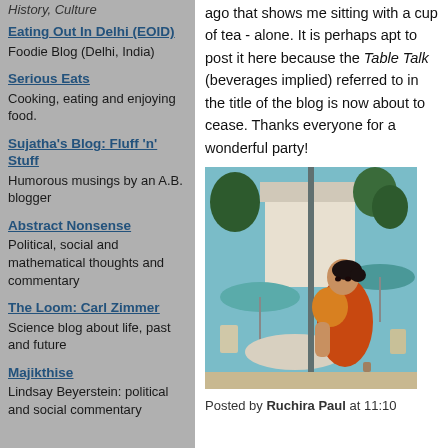History, Culture
Eating Out In Delhi (EOID)
Foodie Blog (Delhi, India)
Serious Eats
Cooking, eating and enjoying food.
Sujatha's Blog: Fluff 'n' Stuff
Humorous musings by an A.B. blogger
Abstract Nonsense
Political, social and mathematical thoughts and commentary
The Loom: Carl Zimmer
Science blog about life, past and future
Majikthise
Lindsay Beyerstein: political and social commentary
ago that shows me sitting with a cup of tea - alone. It is perhaps apt to post it here because the Table Talk (beverages implied) referred to in the title of the blog is now about to cease. Thanks everyone for a wonderful party!
[Figure (illustration): Painting of a woman in a red and orange sari sitting at an outdoor cafe table with umbrellas in the background]
Posted by Ruchira Paul at 11:10